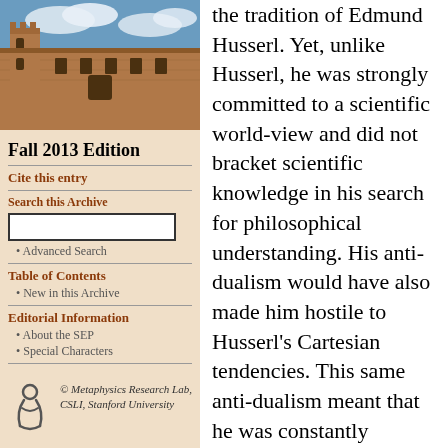[Figure (photo): Photograph of a stone university building with blue sky and clouds]
Fall 2013 Edition
Cite this entry
Search this Archive
Advanced Search
Table of Contents
New in this Archive
Editorial Information
About the SEP
Special Characters
© Metaphysics Research Lab, CSLI, Stanford University
the tradition of Edmund Husserl. Yet, unlike Husserl, he was strongly committed to a scientific world-view and did not bracket scientific knowledge in his search for philosophical understanding. His anti-dualism would have also made him hostile to Husserl's Cartesian tendencies. This same anti-dualism meant that he was constantly engaged in undercutting distinctions. It is not surprising then that he did not follow the method of contemporary analytic philosophy of progressively making more and more subtle distinctions in the search for precise definition. Because of his undercutting of distinctions